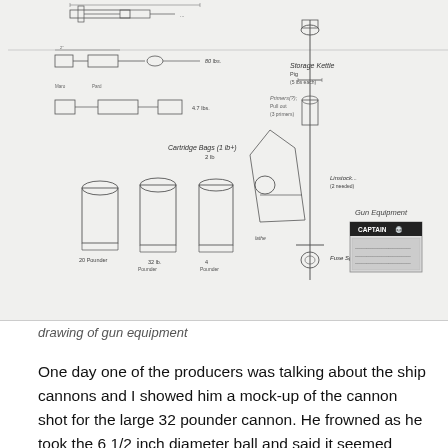[Figure (engineering-diagram): Technical drawing of gun equipment including cartridge bags, firing components, a ramrod or sponge implement, and gun equipment details with dimension annotations. Multiple views shown including side profiles and cross-sections of cannon components. A 'Captain Blood' label is visible in the lower right.]
drawing of gun equipment
One day one of the producers was talking about the ship cannons and I showed him a mock-up of the cannon shot for the large 32 pounder cannon. He frowned as he took the 6 1/2 inch diameter ball and said it seemed puny. I walked him around the corner to where I had taped a full